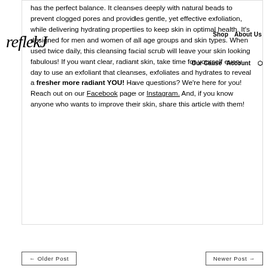reflexj | Shop | About Us | Our Cause | Account
has the perfect balance. It cleanses deeply with natural beads to prevent clogged pores and provides gentle, yet effective exfoliation, while delivering hydrating properties to keep skin in optimal health. It's designed for men and women of all age groups and skin types. When used twice daily, this cleansing facial scrub will leave your skin looking fabulous! If you want clear, radiant skin, take time for yourself every day to use an exfoliant that cleanses, exfoliates and hydrates to reveal a fresher more radiant YOU! Have questions? We're here for you! Reach out on our Facebook page or Instagram. And, if you know anyone who wants to improve their skin, share this article with them!
← Older Post    Newer Post →